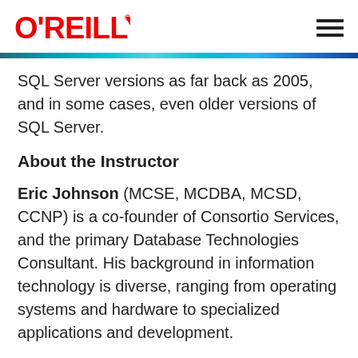O'REILLY
SQL Server versions as far back as 2005, and in some cases, even older versions of SQL Server.
About the Instructor
Eric Johnson (MCSE, MCDBA, MCSD, CCNP) is a co-founder of Consortio Services, and the primary Database Technologies Consultant. His background in information technology is diverse, ranging from operating systems and hardware to specialized applications and development.